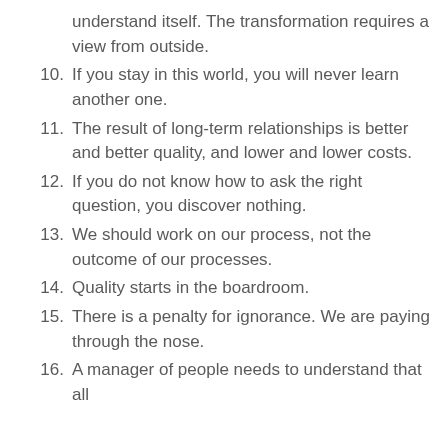understand itself. The transformation requires a view from outside.
10. If you stay in this world, you will never learn another one.
11. The result of long-term relationships is better and better quality, and lower and lower costs.
12. If you do not know how to ask the right question, you discover nothing.
13. We should work on our process, not the outcome of our processes.
14. Quality starts in the boardroom.
15. There is a penalty for ignorance. We are paying through the nose.
16. A manager of people needs to understand that all